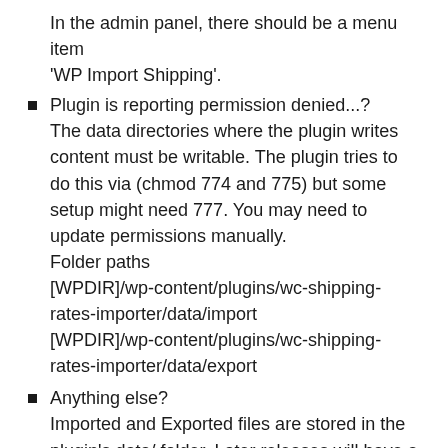In the admin panel, there should be a menu item 'WP Import Shipping'.
Plugin is reporting permission denied...?
The data directories where the plugin writes content must be writable. The plugin tries to do this via (chmod 774 and 775) but some setup might need 777. You may need to update permissions manually.
Folder paths
[WPDIR]/wp-content/plugins/wc-shipping-rates-importer/data/import
[WPDIR]/wp-content/plugins/wc-shipping-rates-importer/data/export
Anything else?
Imported and Exported files are stored in the plugin's data/ folder. Later releases will have a purge feature to cleanup these folders.
Scheduled as well as...